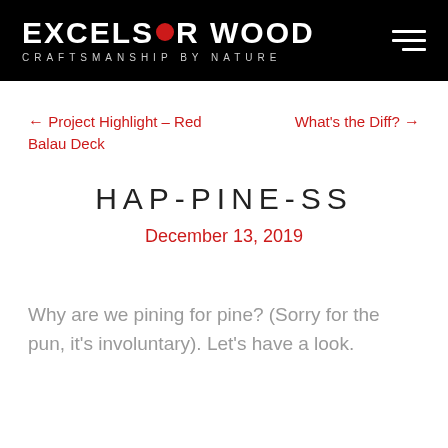EXCELSIOR WOOD — CRAFTSMANSHIP BY NATURE
← Project Highlight – Red Balau Deck
What's the Diff? →
HAP-PINE-SS
December 13, 2019
Why are we pining for pine? (Sorry for the pun, it's involuntary). Let's have a look.